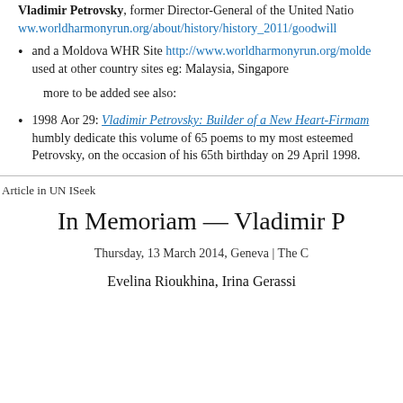Vladimir Petrovsky, former Director-General of the United Nations... ww.worldharmonyrun.org/about/history/history_2011/goodwill
and a Moldova WHR Site http://www.worldharmonyrun.org/molde... used at other country sites eg: Malaysia, Singapore
more to be added see also:
1998 Аоr 29: Vladimir Petrovsky: Builder of a New Heart-Firmam... humbly dedicate this volume of 65 poems to my most esteemed Petrovsky, on the occasion of his 65th birthday on 29 April 1998.
Article in UN ISeek
In Memoriam — Vladimir P
Thursday, 13 March 2014, Geneva | The C
Evelina Rioukhina, Irina Gerassi
...